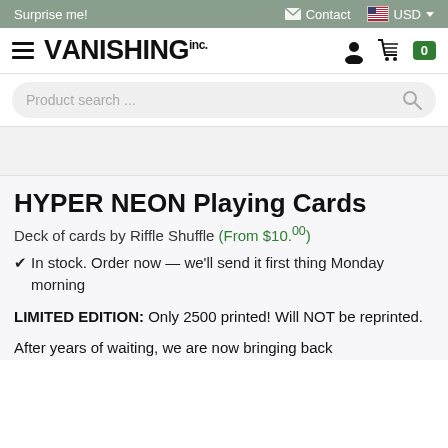Surprise me!  Contact  USD
[Figure (logo): Vanishing Inc. logo with hamburger menu, user icon, cart icon, and badge showing 0]
[Figure (screenshot): Product search bar with magnifier icon]
[Figure (photo): Gray image area placeholder for product image]
HYPER NEON Playing Cards
Deck of cards by Riffle Shuffle (From $10.00)
✔ In stock. Order now — we'll send it first thing Monday morning
LIMITED EDITION: Only 2500 printed! Will NOT be reprinted.
After years of waiting, we are now bringing back